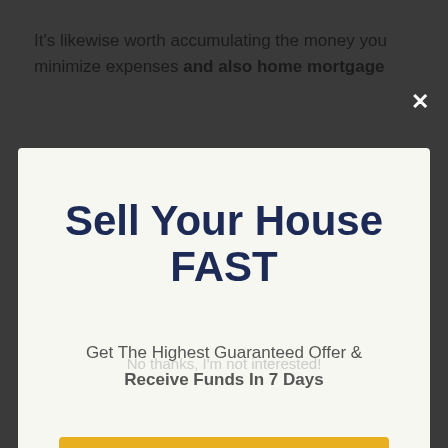It’s likewise worth accumulating the money you minimize expenses and also home mortgage
your residential property.
We can purchase your residential property
Sell Your House FAST
Get The Highest Guaranteed Offer & Receive Funds In 7 Days
GET A CASH OFFER HERE...
No thanks, I’m not interested!